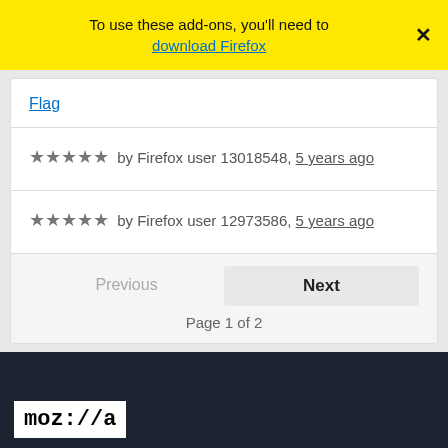To use these add-ons, you'll need to download Firefox
Flag
★★★★★ by Firefox user 13018548, 5 years ago
★★★★★ by Firefox user 12973586, 5 years ago
Previous
Next
Page 1 of 2
[Figure (logo): Mozilla logo in white box on dark footer background]